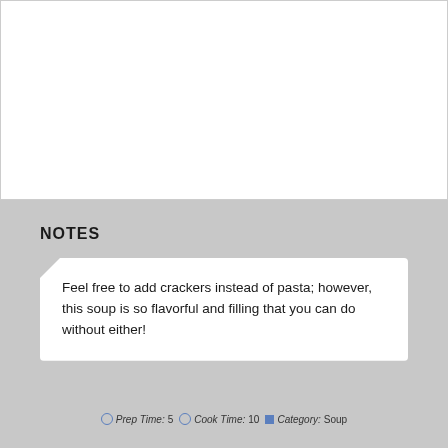[Figure (other): White rectangular image/photo area at top of page]
NOTES
Feel free to add crackers instead of pasta; however, this soup is so flavorful and filling that you can do without either!
Prep Time: 5   Cook Time: 10   Category: Soup